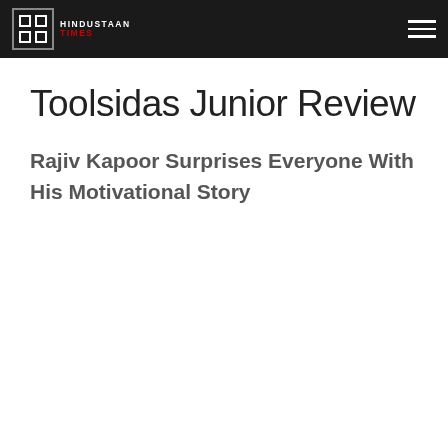Hindustaan Times
Toolsidas Junior Review
Rajiv Kapoor Surprises Everyone With His Motivational Story